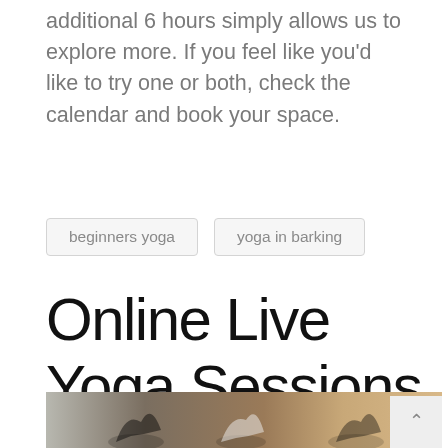additional 6 hours simply allows us to explore more. If you feel like you'd like to try one or both, check the calendar and book your space.
beginners yoga
yoga in barking
Online Live Yoga Sessions
[Figure (photo): Photo of people doing yoga poses (side stretch) in a bright studio-like room, shown in a wide horizontal strip at the bottom of the page.]